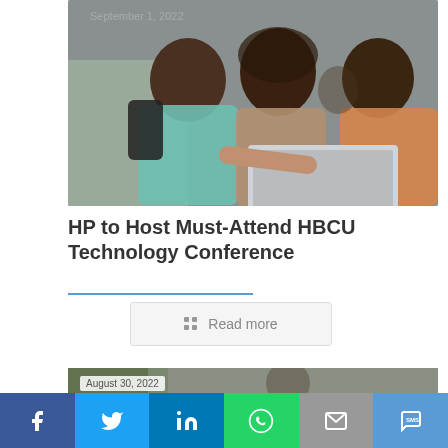[Figure (photo): Three young Black students looking at a laptop outdoors, one pointing at the screen]
September 1, 2022
HP to Host Must-Attend HBCU Technology Conference
Read more
[Figure (photo): Partial photo of a person, second article preview]
August 30, 2022
[Figure (infographic): Social share bar with Facebook, Twitter, LinkedIn, WhatsApp, Email, and SMS buttons]